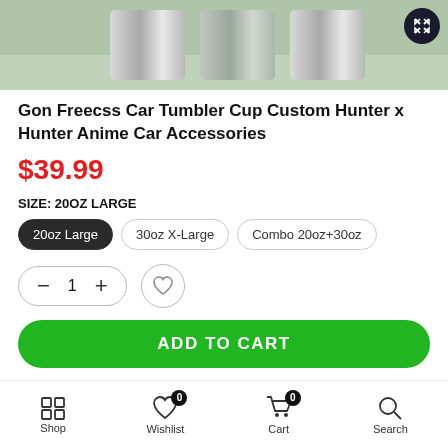[Figure (photo): Product photo of metal tumbler cups on a patterned surface, with an expand/fullscreen button in the top right corner]
Gon Freecss Car Tumbler Cup Custom Hunter x Hunter Anime Car Accessories
$39.99
SIZE: 20OZ LARGE
20oz Large
30oz X-Large
Combo 20oz+30oz
- 1 +
ADD TO CART
Shop  Wishlist 0  Cart 0  Search